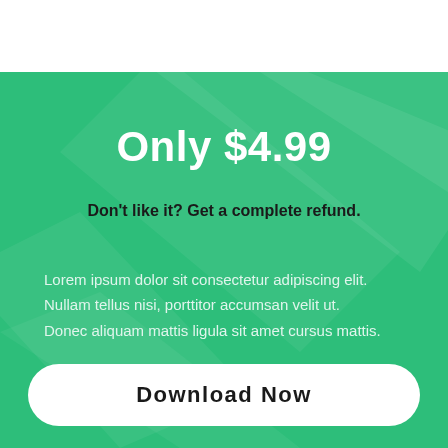Only $4.99
Don't like it? Get a complete refund.
Lorem ipsum dolor sit consectetur adipiscing elit.
Nullam tellus nisi, porttitor accumsan velit ut.
Donec aliquam mattis ligula sit amet cursus mattis.
Download Now